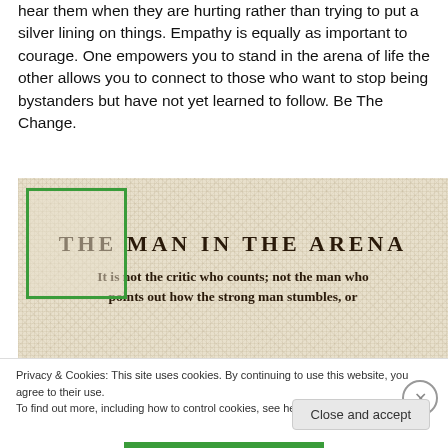hear them when they are hurting rather than trying to put a silver lining on things. Empathy is equally as important to courage. One empowers you to stand in the arena of life the other allows you to connect to those who want to stop being bystanders but have not yet learned to follow. Be The Change.
[Figure (photo): Burlap/linen textured background image with text 'THE MAN IN THE ARENA' in large serif uppercase letters and subtitle 'It is not the critic who counts; not the man who points out how the strong man stumbles, or'. A green rectangle outline overlays the top-left portion of the image.]
Privacy & Cookies: This site uses cookies. By continuing to use this website, you agree to their use.
To find out more, including how to control cookies, see here: Cookie Policy
Close and accept